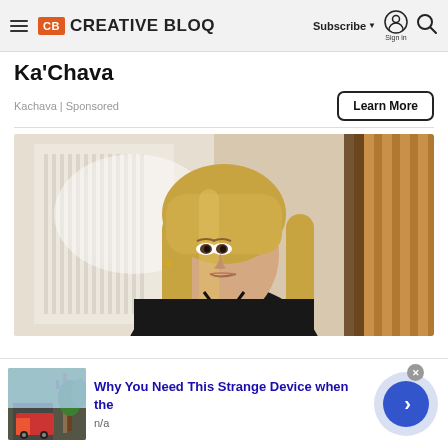CB CREATIVE BLOQ | Subscribe | Sign in | Search
Ka'Chava
Kachava | Sponsored
Learn More
[Figure (photo): Woman with blonde hair in a black top, looking seriously at camera, with a blurred city building in background and wooden furniture on right side.]
Why You Need This Strange Device when the
n/a